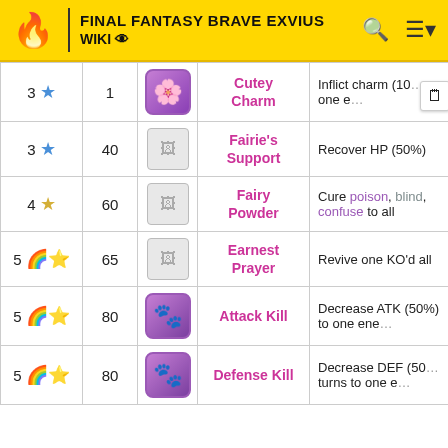FINAL FANTASY BRAVE EXVIUS WIKI
| Stars | Level | Icon | Skill Name | Effect |
| --- | --- | --- | --- | --- |
| 3 ★ | 1 | [flower icon] | Cutey Charm | Inflict charm (10%...) one e... |
| 3 ★ | 40 | [image] | Fairie's Support | Recover HP (50%) |
| 4 ★ | 60 | [image] | Fairy Powder | Cure poison, blind, confuse to all |
| 5 ★ | 65 | [image] | Earnest Prayer | Revive one KO'd all... |
| 5 ★ | 80 | [purple icon] | Attack Kill | Decrease ATK (50%) to one ene... |
| 5 ★ | 80 | [purple icon] | Defense Kill | Decrease DEF (50%...) turns to one e... |